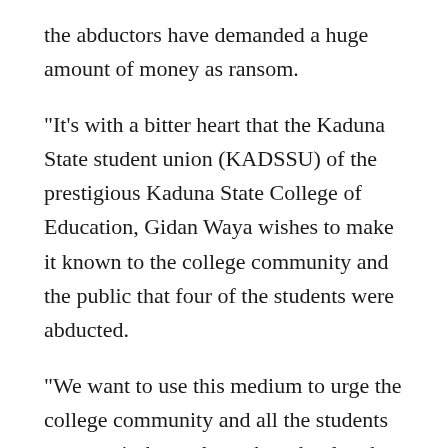the abductors have demanded a huge amount of money as ransom.
“It’s with a bitter heart that the Kaduna State student union (KADSSU) of the prestigious Kaduna State College of Education, Gidan Waya wishes to make it known to the college community and the public that four of the students were abducted.
“We want to use this medium to urge the college community and all the students to commit themselves, the school and their parents to prayers,” the statement SAID.
The students, according to the spokesman are; Racheal Edwin, a 200 level from Biology/Geography Department; Esther Ishaya, 200 level student from Economic/History Department; Promise Tanimu, 200 level from English/History Department and Beauty Luka, a 300 level